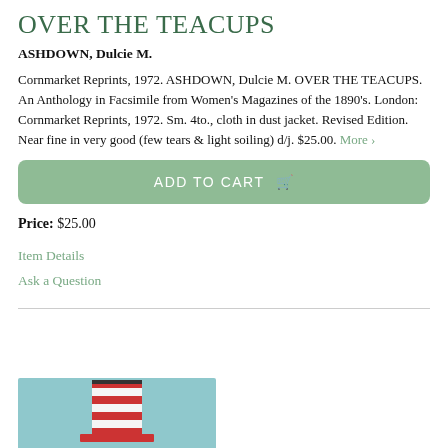OVER THE TEACUPS
ASHDOWN, Dulcie M.
Cornmarket Reprints, 1972. ASHDOWN, Dulcie M. OVER THE TEACUPS. An Anthology in Facsimile from Women's Magazines of the 1890's. London: Cornmarket Reprints, 1972. Sm. 4to., cloth in dust jacket. Revised Edition. Near fine in very good (few tears & light soiling) d/j. $25.00. More ›
ADD TO CART
Price: $25.00
Item Details
Ask a Question
[Figure (photo): Bottom portion of a book cover showing a figure wearing a red and white striped tall hat against a teal/blue background]